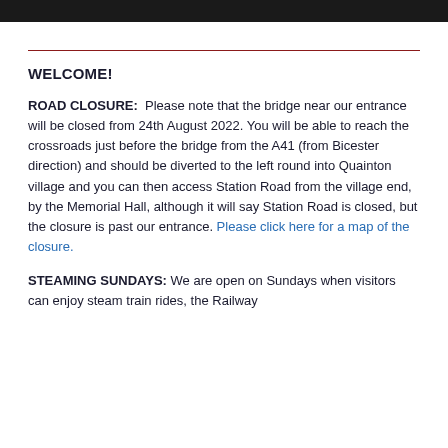WELCOME!
ROAD CLOSURE:  Please note that the bridge near our entrance will be closed from 24th August 2022. You will be able to reach the crossroads just before the bridge from the A41 (from Bicester direction) and should be diverted to the left round into Quainton village and you can then access Station Road from the village end, by the Memorial Hall, although it will say Station Road is closed, but the closure is past our entrance. Please click here for a map of the closure.
STEAMING SUNDAYS: We are open on Sundays when visitors can enjoy steam train rides, the Railway